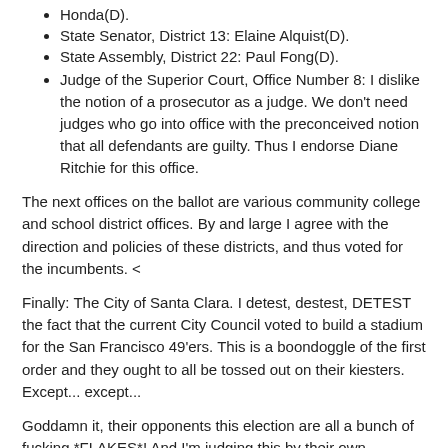Honda(D).
State Senator, District 13: Elaine Alquist(D).
State Assembly, District 22: Paul Fong(D).
Judge of the Superior Court, Office Number 8: I dislike the notion of a prosecutor as a judge. We don't need judges who go into office with the preconceived notion that all defendants are guilty. Thus I endorse Diane Ritchie for this office.
The next offices on the ballot are various community college and school district offices. By and large I agree with the direction and policies of these districts, and thus voted for the incumbents. <
Finally: The City of Santa Clara. I detest, destest, DETEST the fact that the current City Council voted to build a stadium for the San Francisco 49'ers. This is a boondoggle of the first order and they ought to all be tossed out on their kiesters. Except... except...
Goddamn it, their opponents this election are all a bunch of fucking *FLAKES*! And I'm judging this by their own